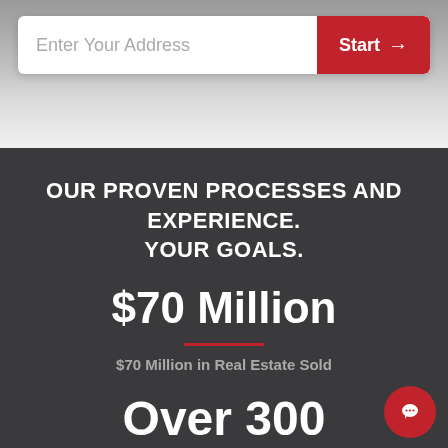[Figure (screenshot): Address search bar with placeholder text 'Enter Your Address' and a red 'Start →' button on the right]
OUR PROVEN PROCESSES AND EXPERIENCE. YOUR GOALS.
$70 Million
$70 Million in Real Estate Sold
Over 300